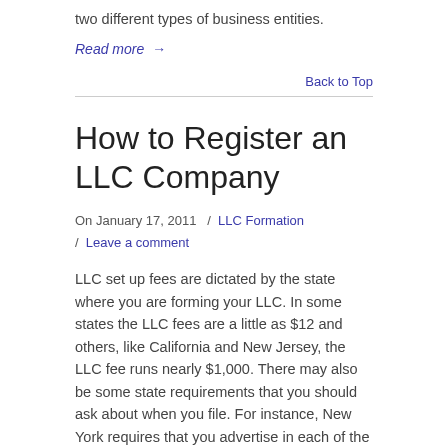two different types of business entities.
Read more →
Back to Top
How to Register an LLC Company
On January 17, 2011  /  LLC Formation  /  Leave a comment
LLC set up fees are dictated by the state where you are forming your LLC. In some states the LLC fees are a little as $12 and others, like California and New Jersey, the LLC fee runs nearly $1,000. There may also be some state requirements that you should ask about when you file. For instance, New York requires that you advertise in each of the big three newspapers. That adds an extra step to your LLC registration.
Read more →